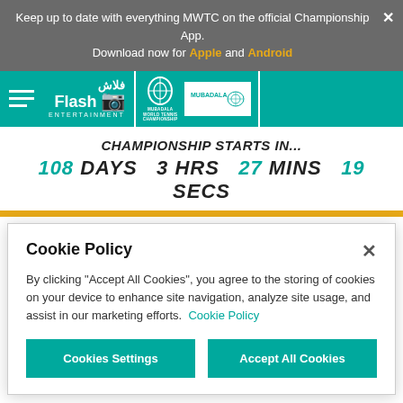Keep up to date with everything MWTC on the official Championship App. Download now for Apple and Android
[Figure (logo): Flash Entertainment logo and Mubadala World Tennis Championship logo with Mubadala branding on teal navigation bar]
CHAMPIONSHIP STARTS IN... 108 DAYS 3 HRS 27 MINS 19 SECS
MUBADALA WORLD TENNIS
Cookie Policy
By clicking “Accept All Cookies”, you agree to the storing of cookies on your device to enhance site navigation, analyze site usage, and assist in our marketing efforts. Cookie Policy
Cookies Settings | Accept All Cookies